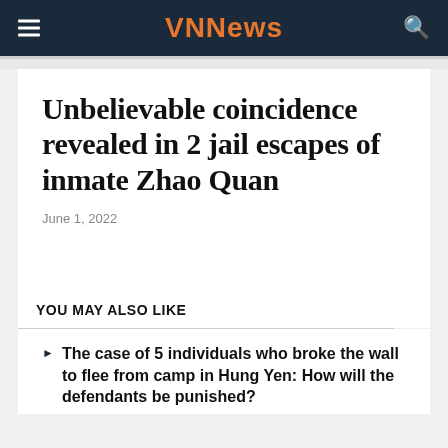VNNews
Unbelievable coincidence revealed in 2 jail escapes of inmate Zhao Quan
June 1, 2022
YOU MAY ALSO LIKE
The case of 5 individuals who broke the wall to flee from camp in Hung Yen: How will the defendants be punished?